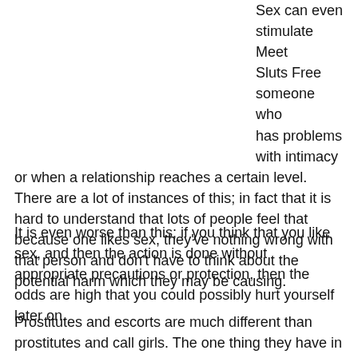Sex can even stimulate Meet Sluts Free someone who has problems with intimacy or when a relationship reaches a certain level. There are a lot of instances of this; in fact that it is hard to understand that lots of people feel that because one likes sex, they've nothing wrong with that person and don't have to think about the potential harm which they may be causing.
It is even worse than this; if you think that you like sex, and then the action is done without appropriate precautions or protection, then the odds are high that you could possibly hurt yourself later on.
Prostitutes and escorts are much different than prostitutes and call girls. The one thing they have in common is that the act of prostitution. Both may go out of their way to look their best and